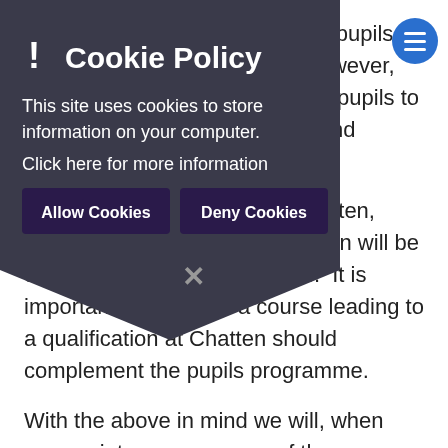This is valuable for many of our pupils to achieve accredited courses. However, there are opportunities for older pupils to make qualifications attainable and useful.
As with all other aspects of Chatten, choosing to access a qualification will be done on a pupil by pupil basis.  It is important to note that a course leading to a qualification at Chatten should complement the pupils programme.
With the above in mind we will, when appropriate access some of the programmes/courses provided by ASDAN. ASDAN provides several courses and programmes designed for pupils with SEND.  Many of these are portfolio based and can be obtained via an 'experiential' route.
[Figure (screenshot): Cookie Policy overlay dialog with dark background, showing title 'Cookie Policy', body text 'This site uses cookies to store information on your computer.', link text 'Click here for more information', and two buttons: 'Allow Cookies' and 'Deny Cookies'. A blue circular hamburger menu button appears in top-right.]